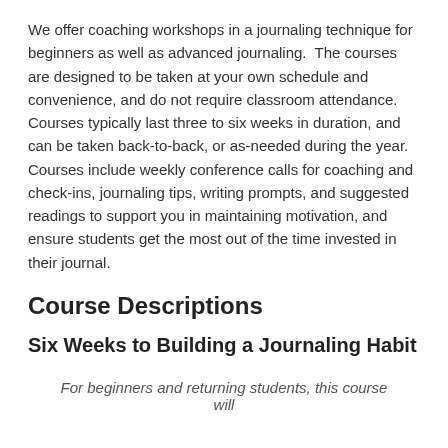We offer coaching workshops in a journaling technique for beginners as well as advanced journaling.  The courses are designed to be taken at your own schedule and convenience, and do not require classroom attendance.  Courses typically last three to six weeks in duration, and can be taken back-to-back, or as-needed during the year.  Courses include weekly conference calls for coaching and check-ins, journaling tips, writing prompts, and suggested readings to support you in maintaining motivation, and ensure students get the most out of the time invested in their journal.
Course Descriptions
Six Weeks to Building a Journaling Habit
For beginners and returning students, this course will